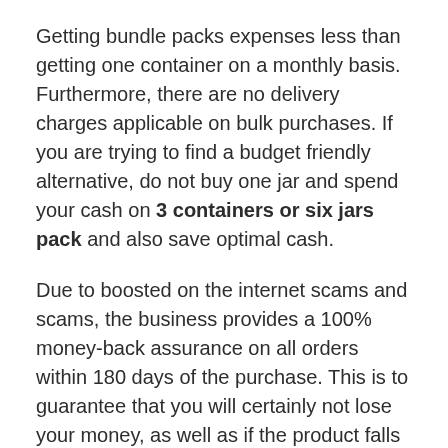Getting bundle packs expenses less than getting one container on a monthly basis. Furthermore, there are no delivery charges applicable on bulk purchases. If you are trying to find a budget friendly alternative, do not buy one jar and spend your cash on 3 containers or six jars pack and also save optimal cash.
Due to boosted on the internet scams and scams, the business provides a 100% money-back assurance on all orders within 180 days of the purchase. This is to guarantee that you will certainly not lose your money, as well as if the product falls short to deliver the results, the client will obtain his cash back from the firm.